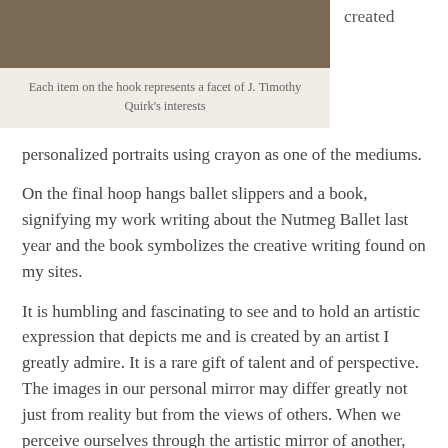[Figure (photo): Partial photo of items on a hook, brown/tan tones, cropped at top]
Each item on the hook represents a facet of J. Timothy Quirk's interests
created
personalized portraits using crayon as one of the mediums.
On the final hoop hangs ballet slippers and a book, signifying my work writing about the Nutmeg Ballet last year and the book symbolizes the creative writing found on my sites.
It is humbling and fascinating to see and to hold an artistic expression that depicts me and is created by an artist I greatly admire. It is a rare gift of talent and of perspective. The images in our personal mirror may differ greatly not just from reality but from the views of others. When we perceive ourselves through the artistic mirror of another, we become enlightened on another level entirely.
A few weeks ago a friend posted on social media a commercial for Canon disguised as viral video content which provided an entertaining and intriguing idea of one person being photographed by 4 different photographers. Each